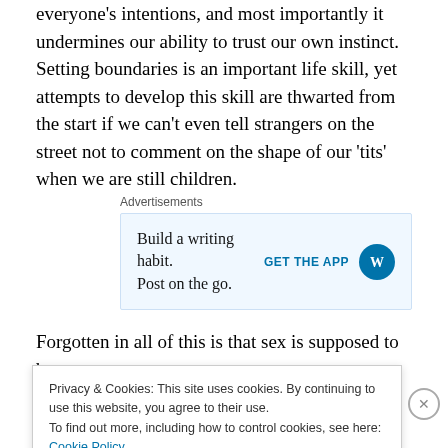everyone's intentions, and most importantly it undermines our ability to trust our own instinct. Setting boundaries is an important life skill, yet attempts to develop this skill are thwarted from the start if we can't even tell strangers on the street not to comment on the shape of our 'tits' when we are still children.
[Figure (other): Advertisement box: 'Build a writing habit. Post on the go.' with GET THE APP call to action and WordPress logo]
Forgotten in all of this is that sex is supposed to be
Privacy & Cookies: This site uses cookies. By continuing to use this website, you agree to their use. To find out more, including how to control cookies, see here: Cookie Policy